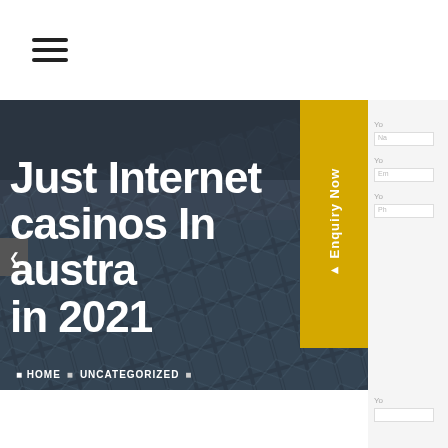Navigation menu (hamburger icon)
[Figure (photo): Hero image of a modern glass building with geometric diamond facade panels photographed from below against a cloudy dark sky. Large white bold text overlay reads 'Just Internet casinos In australia in 2021'. Breadcrumb navigation shows HOME > UNCATEGORIZED and yellow text 'JUST INTERNET CASINOS IN AUSTRALIA IN 2021'. A yellow vertical 'Enquiry Now' button appears on the right side of the image.]
Just Internet casinos In australia in 2021
HOME  UNCATEGORIZED
JUST INTERNET CASINOS IN AUSTRALIA IN 2021